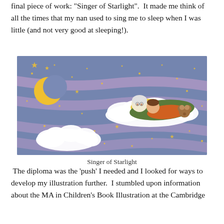final piece of work: "Singer of Starlight".  It made me think of all the times that my nan used to sing me to sleep when I was little (and not very good at sleeping!).
[Figure (illustration): Children's book illustration showing a grandmother and child sleeping together on a cloud in a starry night sky, with a crescent moon on the left, purple ribbon-like bands through the sky, and small golden stars scattered throughout.]
Singer of Starlight
The diploma was the 'push' I needed and I looked for ways to develop my illustration further.  I stumbled upon information about the MA in Children's Book Illustration at the Cambridge